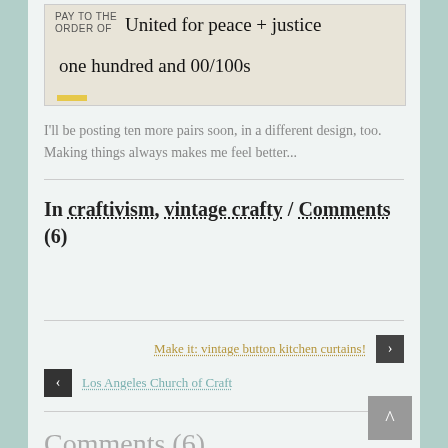[Figure (photo): A handwritten check made out to 'United for peace + justice' for 'one hundred and 00/100s']
I'll be posting ten more pairs soon, in a different design, too. Making things always makes me feel better...
In craftivism, vintage crafty / Comments (6)
Make it: vintage button kitchen curtains!
Los Angeles Church of Craft
Comments (6)